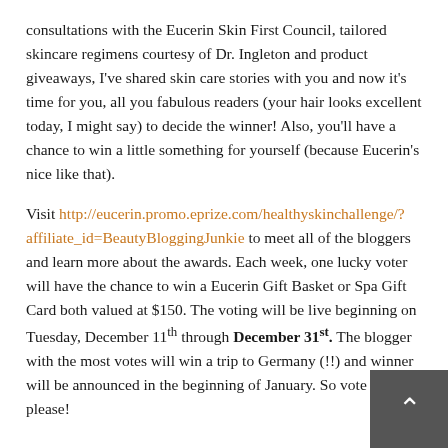consultations with the Eucerin Skin First Council, tailored skincare regimens courtesy of Dr. Ingleton and product giveaways, I've shared skin care stories with you and now it's time for you, all you fabulous readers (your hair looks excellent today, I might say) to decide the winner! Also, you'll have a chance to win a little something for yourself (because Eucerin's nice like that).
Visit http://eucerin.promo.eprize.com/healthyskinchallenge/?affiliate_id=BeautyBloggingJunkie to meet all of the bloggers and learn more about the awards. Each week, one lucky voter will have the chance to win a Eucerin Gift Basket or Spa Gift Card both valued at $150. The voting will be live beginning on Tuesday, December 11th through December 31st. The blogger with the most votes will win a trip to Germany (!!) and winner will be announced in the beginning of January. So vote for me please!